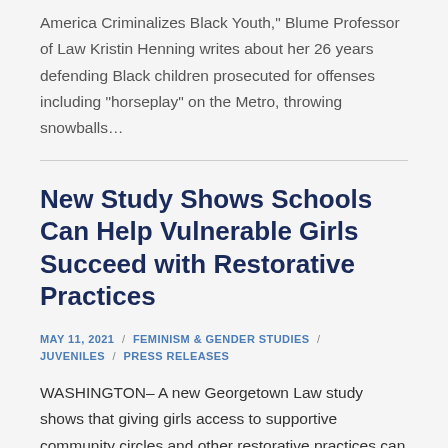America Criminalizes Black Youth," Blume Professor of Law Kristin Henning writes about her 26 years defending Black children prosecuted for offenses including "horseplay" on the Metro, throwing snowballs…
New Study Shows Schools Can Help Vulnerable Girls Succeed with Restorative Practices
MAY 11, 2021 / FEMINISM & GENDER STUDIES / JUVENILES / PRESS RELEASES
WASHINGTON– A new Georgetown Law study shows that giving girls access to supportive community circles and other restorative practices can benefit their health, wellbeing and chances for school